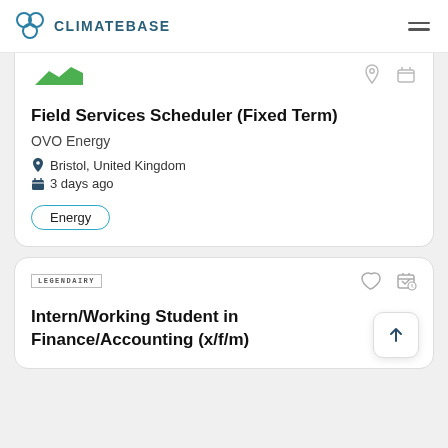CLIMATEBASE
Field Services Scheduler (Fixed Term)
OVO Energy
Bristol, United Kingdom
3 days ago
Energy
[Figure (logo): LEGENDAIRY company logo text in small caps]
Intern/Working Student in Finance/Accounting (x/f/m)